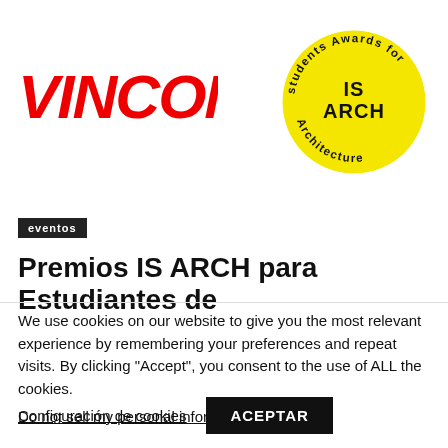[Figure (logo): VINCON logo in bold red italic letters]
[Figure (logo): IS ARCH circular badge: yellow circle with black text 'IS ARCH' in center and 'students Awards for Architecture' around the ring]
eventos
Premios IS ARCH para Estudiantes de
We use cookies on our website to give you the most relevant experience by remembering your preferences and repeat visits. By clicking “Accept”, you consent to the use of ALL the cookies.
Do not sell my personal information.
Configuración de cookies
ACEPTAR